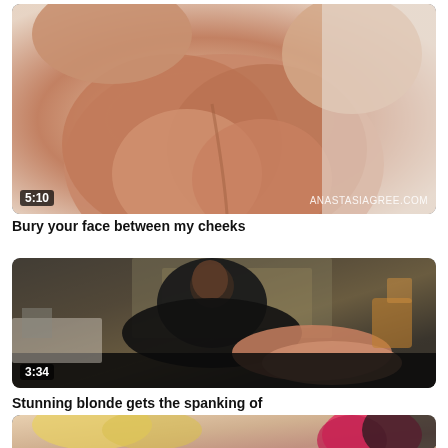[Figure (screenshot): Video thumbnail showing close-up skin, duration 5:10, watermark ANASTASIAGREE.COM]
Bury your face between my cheeks
[Figure (screenshot): Video thumbnail showing two people, duration 3:34]
Stunning blonde gets the spanking of
[Figure (screenshot): Partial video thumbnail at bottom of page]